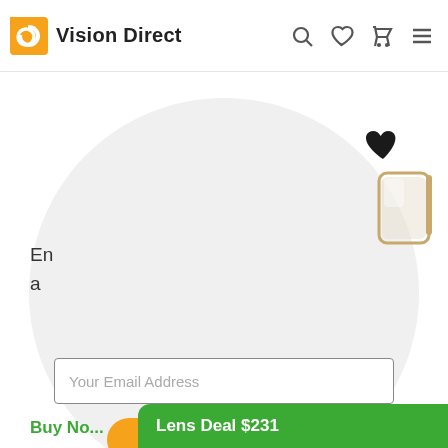Vision Direct
[Figure (screenshot): Vision Direct website screenshot showing a modal popup with email address input field, orange submit button, and a product image of eyeglasses with a heart icon. A green promotional banner at the bottom shows 'Lens Deal $231' and 'Buy Now' text.]
Your Email Address
Buy Now
Lens Deal $231